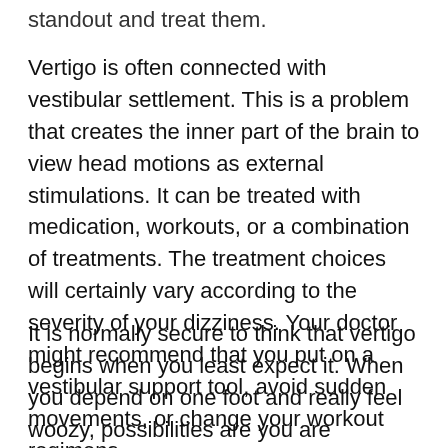standout and treat them.
Vertigo is often connected with vestibular settlement. This is a problem that creates the inner part of the brain to view head motions as external stimulations. It can be treated with medication, workouts, or a combination of treatments. The treatment choices will certainly vary according to the severity of your dizziness. Your doctor might recommend that you put on a vestibular support tool, avoid sudden movements, or change your workout regimens.
It is normally secure to think that vertigo begins when you least expect it. When you depend on one foot and really feel woozy, possibilities are you are currently in a raised position. It can result in harm, so ensure that